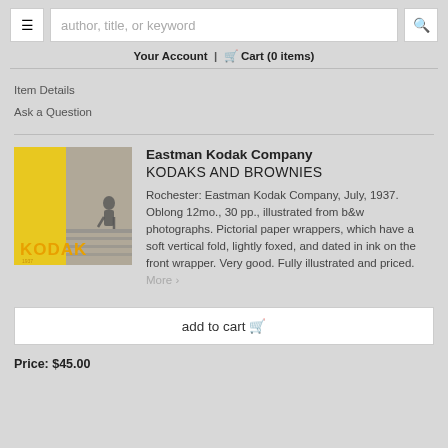author, title, or keyword | Your Account | Cart (0 items)
Item Details
Ask a Question
[Figure (photo): Book cover of Kodaks and Brownies by Eastman Kodak Company, yellow and black cover with Kodak branding and a child on a dock]
Eastman Kodak Company
KODAKS AND BROWNIES
Rochester: Eastman Kodak Company, July, 1937. Oblong 12mo., 30 pp., illustrated from b&w photographs. Pictorial paper wrappers, which have a soft vertical fold, lightly foxed, and dated in ink on the front wrapper. Very good. Fully illustrated and priced. More >
add to cart
Price: $45.00